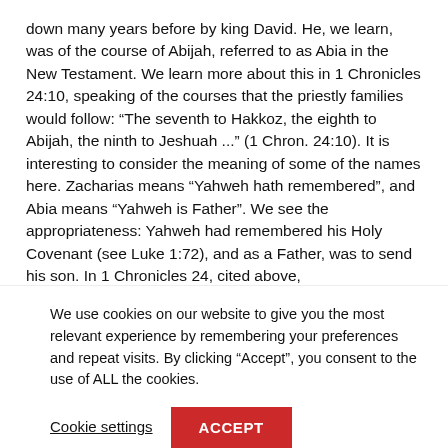down many years before by king David. He, we learn, was of the course of Abijah, referred to as Abia in the New Testament. We learn more about this in 1 Chronicles 24:10, speaking of the courses that the priestly families would follow: “The seventh to Hakkoz, the eighth to Abijah, the ninth to Jeshuah ...” (1 Chron. 24:10). It is interesting to consider the meaning of some of the names here. Zacharias means “Yahweh hath remembered”, and Abia means “Yahweh is Father”. We see the appropriateness: Yahweh had remembered his Holy Covenant (see Luke 1:72), and as a Father, was to send his son. In 1 Chronicles 24, cited above,
We use cookies on our website to give you the most relevant experience by remembering your preferences and repeat visits. By clicking “Accept”, you consent to the use of ALL the cookies.
Cookie settings   ACCEPT